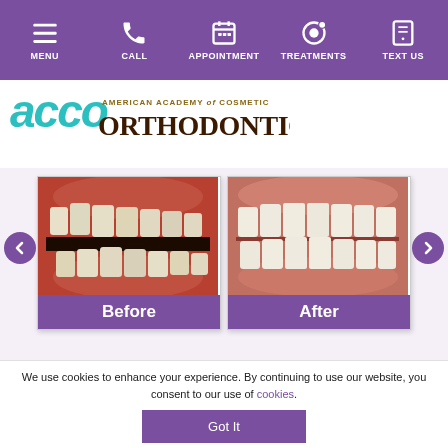MENU | CALL | APPOINTMENT | TREATMENTS | TEXT US
[Figure (logo): American Academy of Cosmetic Orthodontics logo with teal script letters and dark brown serif text]
[Figure (photo): Before orthodontic treatment photo showing misaligned teeth with open bite]
[Figure (photo): After orthodontic treatment photo showing aligned teeth]
Before
After
We use cookies to enhance your experience. By continuing to use our website, you consent to our use of cookies.
Got It